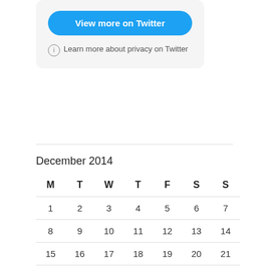[Figure (screenshot): Twitter embedded widget with 'View more on Twitter' button and privacy info link]
Learn more about privacy on Twitter
December 2014
| M | T | W | T | F | S | S |
| --- | --- | --- | --- | --- | --- | --- |
| 1 | 2 | 3 | 4 | 5 | 6 | 7 |
| 8 | 9 | 10 | 11 | 12 | 13 | 14 |
| 15 | 16 | 17 | 18 | 19 | 20 | 21 |
| 22 | 23 | 24 | 25 | 26 | 27 | 28 |
| 29 | 30 | 31 |  |  |  |  |